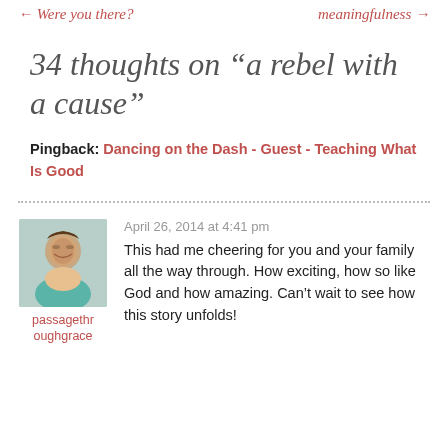← Were you there?    meaningfulness →
34 thoughts on “a rebel with a cause”
Pingback: Dancing on the Dash - Guest - Teaching What Is Good
April 26, 2014 at 4:41 pm
passagethroughgrace
This had me cheering for you and your family all the way through. How exciting, how so like God and how amazing. Can’t wait to see how this story unfolds!